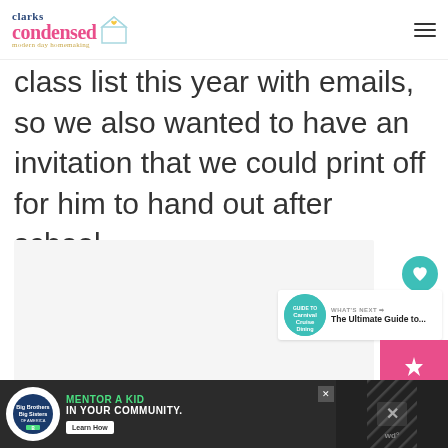clarks condensed — modern day homemaking
class list this year with emails, so we also wanted to have an invitation that we could print off for him to hand out after school.
[Figure (screenshot): Blank/light gray image placeholder area]
[Figure (infographic): What's Next widget with Carnival Cruise Dining thumbnail and text 'The Ultimate Guide to...']
[Figure (infographic): Advertisement banner: Big Brothers Big Sisters - Mentor a Kid in Your Community. Learn How button.]